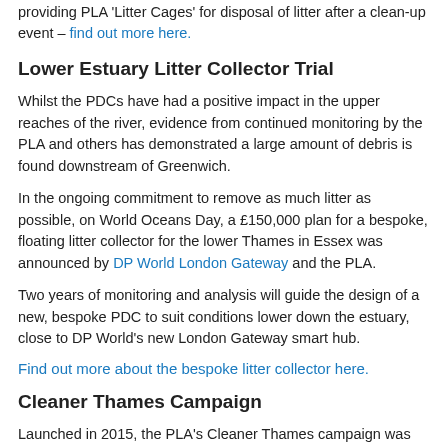providing PLA 'Litter Cages' for disposal of litter after a clean-up event – find out more here.
Lower Estuary Litter Collector Trial
Whilst the PDCs have had a positive impact in the upper reaches of the river, evidence from continued monitoring by the PLA and others has demonstrated a large amount of debris is found downstream of Greenwich.
In the ongoing commitment to remove as much litter as possible, on World Oceans Day, a £150,000 plan for a bespoke, floating litter collector for the lower Thames in Essex was announced by DP World London Gateway and the PLA.
Two years of monitoring and analysis will guide the design of a new, bespoke PDC to suit conditions lower down the estuary, close to DP World's new London Gateway smart hub.
Find out more about the bespoke litter collector here.
Cleaner Thames Campaign
Launched in 2015, the PLA's Cleaner Thames campaign was created to stop the tide of rubbish that ends up in the River Thames. The campaign aimed at encouraging Londoners to 'do the right thing' and make sure their rubbish goes in the bin, not in the river.
This campaign was supported by several partners including leading